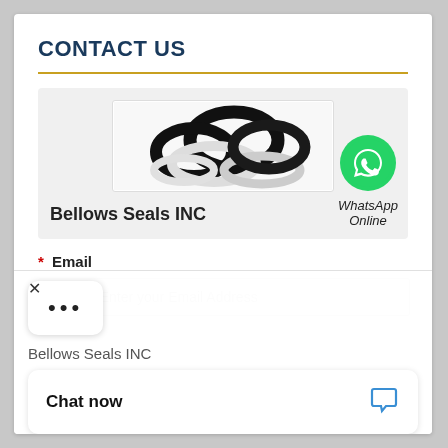CONTACT US
[Figure (photo): Product photo showing a pile of black and white O-rings/seals]
Bellows Seals INC
[Figure (logo): WhatsApp green logo icon with phone handset]
WhatsApp Online
* Email
Please Enter your Email Address
×
•••
Bellows Seals INC
Chat now